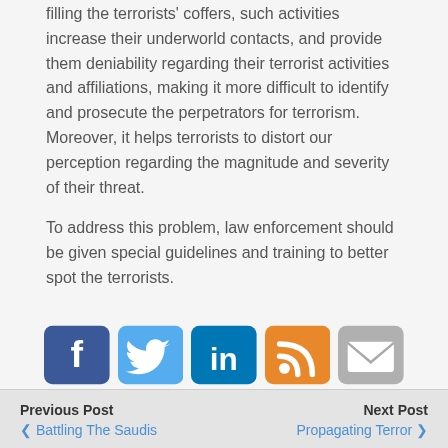filling the terrorists' coffers, such activities increase their underworld contacts, and provide them deniability regarding their terrorist activities and affiliations, making it more difficult to identify and prosecute the perpetrators for terrorism. Moreover, it helps terrorists to distort our perception regarding the magnitude and severity of their threat.
To address this problem, law enforcement should be given special guidelines and training to better spot the terrorists.
[Figure (infographic): Social media sharing icons: Facebook (dark blue), Twitter (light blue), LinkedIn (dark blue), RSS feed (orange), Email (gray)]
Previous Post | Battling The Saudis | Next Post | Propagating Terror